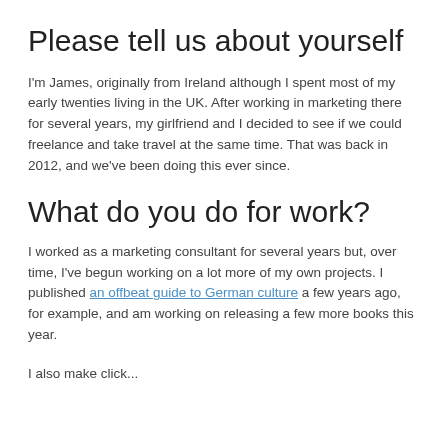Please tell us about yourself
I'm James, originally from Ireland although I spent most of my early twenties living in the UK. After working in marketing there for several years, my girlfriend and I decided to see if we could freelance and take travel at the same time. That was back in 2012, and we've been doing this ever since.
What do you do for work?
I worked as a marketing consultant for several years but, over time, I've begun working on a lot more of my own projects. I published an offbeat guide to German culture a few years ago, for example, and am working on releasing a few more books this year.
I also make click...